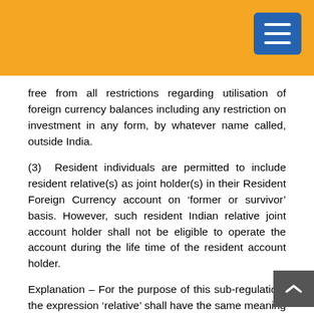free from all restrictions regarding utilisation of foreign currency balances including any restriction on investment in any form, by whatever name called, outside India.
(3) Resident individuals are permitted to include resident relative(s) as joint holder(s) in their Resident Foreign Currency account on ‘former or survivor’ basis. However, such resident Indian relative joint account holder shall not be eligible to operate the account during the life time of the resident account holder.
Explanation – For the purpose of this sub-regulation, the expression ‘relative’ shall have the same meaning as assigned to it under section 2(77) of the Companies Act, 2013.
(C) Resident Foreign Currency (Domestic) Account
(1) A resident Individual may open, hold and maintain with an Authorised Dealer in India a foreign currency account, to be known as Resident Foreign Currency (Domestic) Account, out of foreign exchange acquired in the form of currency notes, bank notes and travellers’ cheques as under: